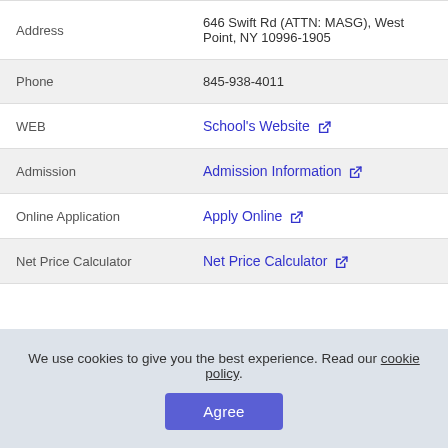| Address | 646 Swift Rd (ATTN: MASG), West Point, NY 10996-1905 |
| Phone | 845-938-4011 |
| WEB | School's Website ↗ |
| Admission | Admission Information ↗ |
| Online Application | Apply Online ↗ |
| Net Price Calculator | Net Price Calculator ↗ |
We use cookies to give you the best experience. Read our cookie policy.